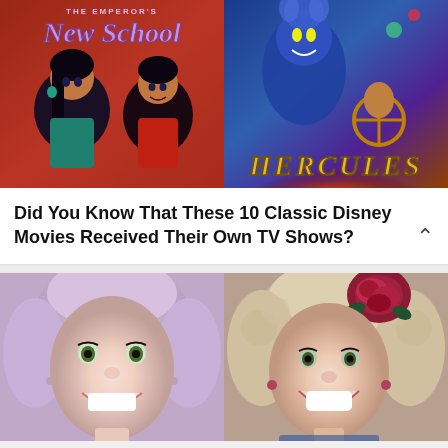[Figure (photo): Two side-by-side images: left shows animated characters from The Emperor's New School TV show with red/brown background and stylized title text; right shows animated movie poster for Hercules with blue villain character and golden title text]
Did You Know That These 10 Classic Disney Movies Received Their Own TV Shows?
[Figure (photo): Two side-by-side portrait photos: left shows a woman with short light pink/blonde hair and bright smile; right shows a woman with curly blonde hair and a large dark red rose flower accessory, laughing]